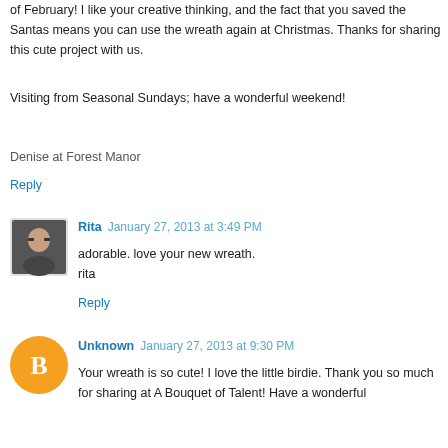of February! I like your creative thinking, and the fact that you saved the Santas means you can use the wreath again at Christmas. Thanks for sharing this cute project with us.
Visiting from Seasonal Sundays; have a wonderful weekend!
Denise at Forest Manor
Reply
[Figure (photo): Small profile photo of Rita, a woman with short dark hair and glasses]
Rita January 27, 2013 at 3:49 PM
adorable. love your new wreath.
rita
Reply
[Figure (logo): Orange circle with white Blogger 'B' logo for Unknown commenter]
Unknown January 27, 2013 at 9:30 PM
Your wreath is so cute! I love the little birdie. Thank you so much for sharing at A Bouquet of Talent! Have a wonderful